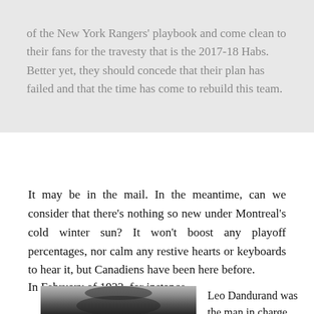of the New York Rangers' playbook and come clean to their fans for the travesty that is the 2017-18 Habs. Better yet, they should concede that their plan has failed and that the time has come to rebuild this team.
It may be in the mail. In the meantime, can we consider that there's nothing so new under Montreal's cold winter sun? It won't boost any playoff percentages, nor calm any restive hearts or keyboards to hear it, but Canadiens have been here before.
In February of 1933, for instance.
[Figure (photo): Black and white photo of a person, partially visible at bottom of page]
Leo Dandurand was the man in charge